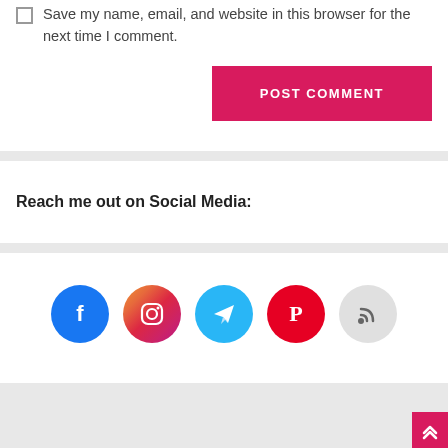Save my name, email, and website in this browser for the next time I comment.
POST COMMENT
Reach me out on Social Media:
[Figure (illustration): Row of five social media icon circles: Facebook (blue), Instagram (gradient pink-red), Telegram (cyan), Pinterest (red), RSS (light gray)]